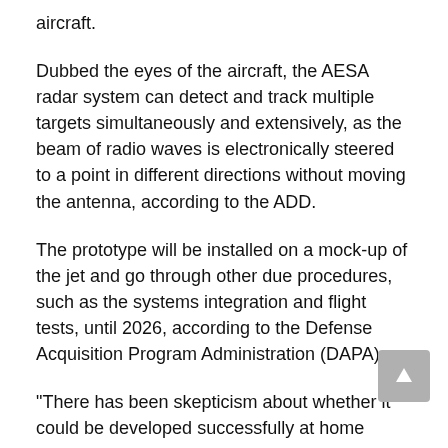aircraft.
Dubbed the eyes of the aircraft, the AESA radar system can detect and track multiple targets simultaneously and extensively, as the beam of radio waves is electronically steered to a point in different directions without moving the antenna, according to the ADD.
The prototype will be installed on a mock-up of the jet and go through other due procedures, such as the systems integration and flight tests, until 2026, according to the Defense Acquisition Program Administration (DAPA).
"There has been skepticism about whether it could be developed successfully at home without technology transfer from overseas, but we finally